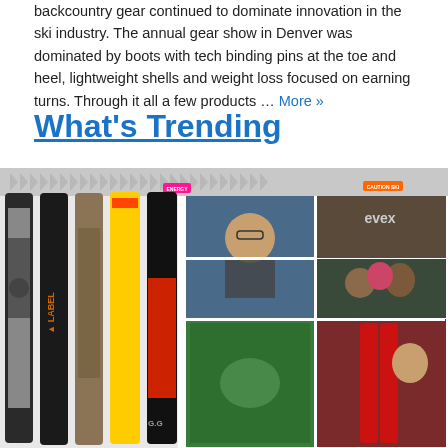backcountry gear continued to dominate innovation in the ski industry. The annual gear show in Denver was dominated by boots with tech binding pins at the toe and heel, lightweight shells and weight loss focused on earning turns. Through it all a few products … More »
What's Trending
[Figure (photo): Composite image showing ski gear (skis with labels including CAUTION and WIDE) on the left, and a collage of photos from a ski gear trade show on the right, with a 'What's Trending' badge/logo at top right.]